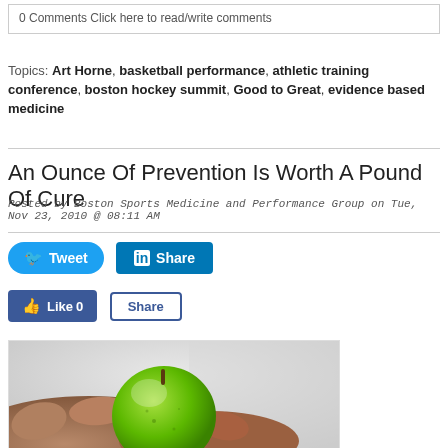0 Comments Click here to read/write comments
Topics: Art Horne, basketball performance, athletic training conference, boston hockey summit, Good to Great, evidence based medicine
An Ounce Of Prevention Is Worth A Pound Of Cure
Posted by Boston Sports Medicine and Performance Group on Tue, Nov 23, 2010 @ 08:11 AM
[Figure (screenshot): Social media buttons: Tweet (Twitter), Share (LinkedIn), Like 0 (Facebook), Share (Facebook)]
[Figure (photo): A hand holding a green apple, close-up photography]